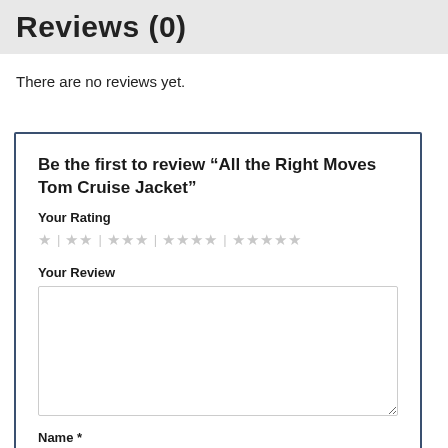Reviews (0)
There are no reviews yet.
Be the first to review “All the Right Moves Tom Cruise Jacket”
Your Rating
★ | ★★ | ★★★ | ★★★★ | ★★★★★
Your Review
Name *